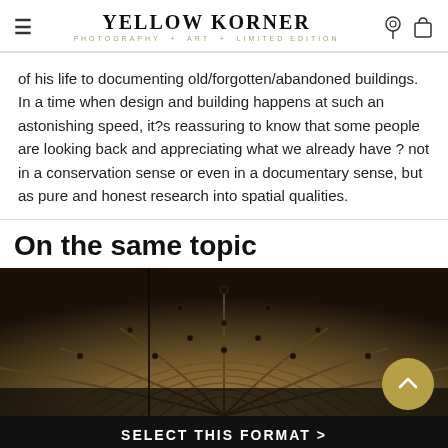YELLOW KORNER PHOTOGRAPHY + ART + LIMITED EDITION
of his life to documenting old/forgotten/abandoned buildings. In a time when design and building happens at such an astonishing speed, it?s reassuring to know that some people are looking back and appreciating what we already have ? not in a conservation sense or even in a documentary sense, but as pure and honest research into spatial qualities.
On the same topic
[Figure (photo): Architectural photograph showing ornate ceiling with arched ribbed details and decorative circular motifs, viewed from below.]
SELECT THIS FORMAT >